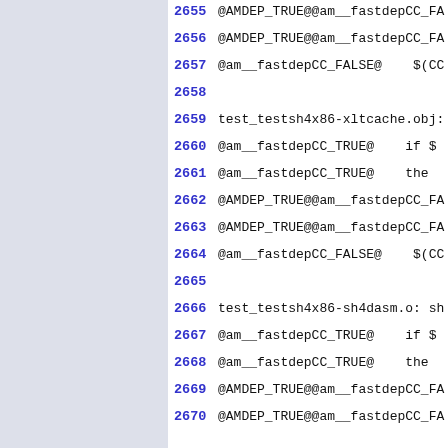2655 @AMDEP_TRUE@@am__fastdepCC_FA
2656 @AMDEP_TRUE@@am__fastdepCC_FA
2657 @am__fastdepCC_FALSE@    $(CC
2658
2659 test_testsh4x86-xltcache.obj:
2660 @am__fastdepCC_TRUE@    if $
2661 @am__fastdepCC_TRUE@    the
2662 @AMDEP_TRUE@@am__fastdepCC_FA
2663 @AMDEP_TRUE@@am__fastdepCC_FA
2664 @am__fastdepCC_FALSE@    $(CC
2665
2666 test_testsh4x86-sh4dasm.o: sh
2667 @am__fastdepCC_TRUE@    if $
2668 @am__fastdepCC_TRUE@    the
2669 @AMDEP_TRUE@@am__fastdepCC_FA
2670 @AMDEP_TRUE@@am__fastdepCC_FA